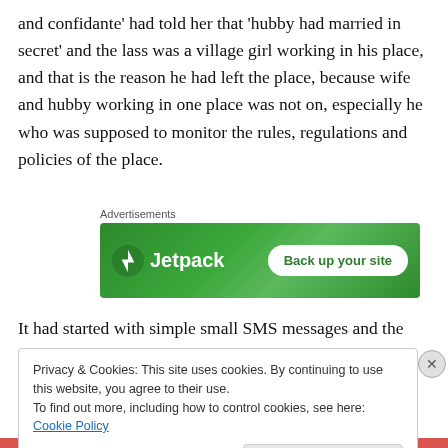and confidante' had told her that 'hubby had married in secret' and the lass was a village girl working in his place, and that is the reason he had left the place, because wife and hubby working in one place was not on, especially he who was supposed to monitor the rules, regulations and policies of the place.
[Figure (other): Jetpack advertisement banner with green background showing Jetpack logo and 'Back up your site' button]
It had started with simple small SMS messages and the
Privacy & Cookies: This site uses cookies. By continuing to use this website, you agree to their use. To find out more, including how to control cookies, see here: Cookie Policy